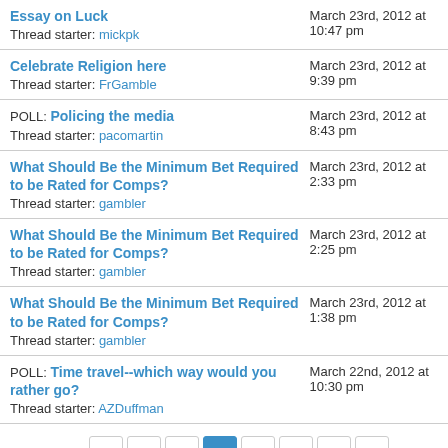Essay on Luck
Thread starter: mickpk
March 23rd, 2012 at 10:47 pm
Celebrate Religion here
Thread starter: FrGamble
March 23rd, 2012 at 9:39 pm
POLL: Policing the media
Thread starter: pacomartin
March 23rd, 2012 at 8:43 pm
What Should Be the Minimum Bet Required to be Rated for Comps?
Thread starter: gambler
March 23rd, 2012 at 2:33 pm
What Should Be the Minimum Bet Required to be Rated for Comps?
Thread starter: gambler
March 23rd, 2012 at 2:25 pm
What Should Be the Minimum Bet Required to be Rated for Comps?
Thread starter: gambler
March 23rd, 2012 at 1:38 pm
POLL: Time travel--which way would you rather go?
Thread starter: AZDuffman
March 22nd, 2012 at 10:30 pm
Page 3 of 9  < 1 2 3 4 5 6 >  Last »